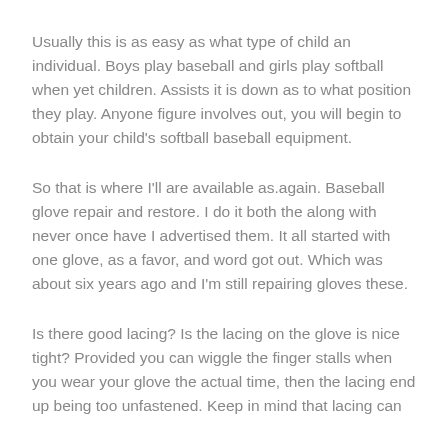Usually this is as easy as what type of child an individual. Boys play baseball and girls play softball when yet children. Assists it is down as to what position they play. Anyone figure involves out, you will begin to obtain your child's softball baseball equipment.
So that is where I'll are available as.again. Baseball glove repair and restore. I do it both the along with never once have I advertised them. It all started with one glove, as a favor, and word got out. Which was about six years ago and I'm still repairing gloves these.
Is there good lacing? Is the lacing on the glove is nice tight? Provided you can wiggle the finger stalls when you wear your glove the actual time, then the lacing end up being too unfastened. Keep in mind that lacing can